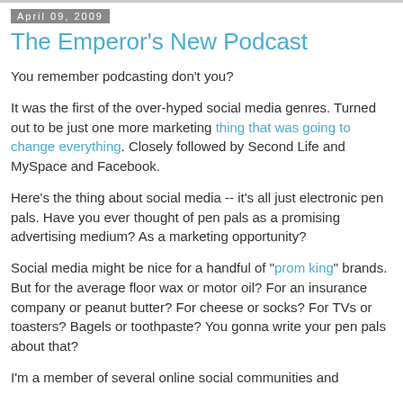April 09, 2009
The Emperor's New Podcast
You remember podcasting don't you?
It was the first of the over-hyped social media genres. Turned out to be just one more marketing thing that was going to change everything. Closely followed by Second Life and MySpace and Facebook.
Here's the thing about social media -- it's all just electronic pen pals. Have you ever thought of pen pals as a promising advertising medium? As a marketing opportunity?
Social media might be nice for a handful of "prom king" brands. But for the average floor wax or motor oil? For an insurance company or peanut butter? For cheese or socks? For TVs or toasters? Bagels or toothpaste? You gonna write your pen pals about that?
I'm a member of several online social communities and